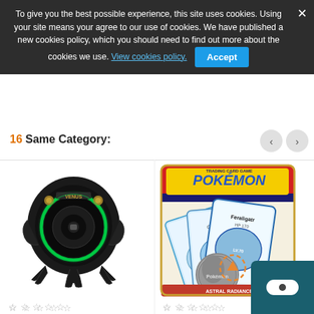To give you the best possible experience, this site uses cookies. Using your site means your agree to our use of cookies. We have published a new cookies policy, which you should need to find out more about the cookies we use. View cookies policy. Accept
16 Same Category:
[Figure (photo): GravaStar G2 Venus Wireless Bluetooth Speaker - black armored spherical speaker with green LED ring and claw legs]
☆ ☆ ☆ ☆ ☆
GravaStar G2 Venus Wireless Bluetooth Speaker
€72.00  €90.00
[Figure (photo): Pokémon TCG: Sword & Shield – Astral Radiance product package with Pokemon cards fanned out]
☆ ☆ ☆ ☆ ☆
Pokémon TCG: Sword & Shield – Astral Radiance
€8.99